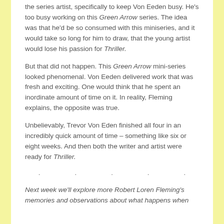the series artist, specifically to keep Von Eeden busy. He's too busy working on this Green Arrow series. The idea was that he'd be so consumed with this miniseries, and it would take so long for him to draw, that the young artist would lose his passion for Thriller.
But that did not happen. This Green Arrow mini-series looked phenomenal. Von Eeden delivered work that was fresh and exciting. One would think that he spent an inordinate amount of time on it. In reality, Fleming explains, the opposite was true.
Unbelievably, Trevor Von Eden finished all four in an incredibly quick amount of time – something like six or eight weeks. And then both the writer and artist were ready for Thriller.
· · · · ·
Next week we'll explore more Robert Loren Fleming's memories and observations about what happens when